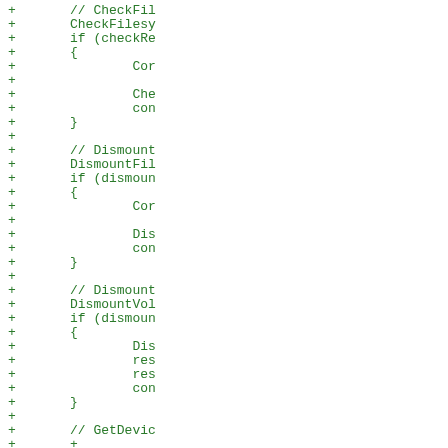Diff view of code additions showing CheckFilesystem, DismountFilesystem, and DismountVolume function calls with surrounding conditional logic.